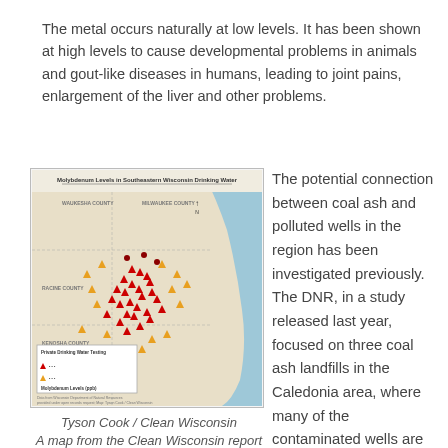The metal occurs naturally at low levels. It has been shown at high levels to cause developmental problems in animals and gout-like diseases in humans, leading to joint pains, enlargement of the liver and other problems.
[Figure (map): Map titled 'Molybdenum Levels in Southeastern Wisconsin Drinking Water' showing geographic distribution of molybdenum contamination with red and yellow triangle/dot markers clustered in the central region, legend showing Private Drinking Water Testing and Molybdenum Levels (ppb).]
Tyson Cook / Clean Wisconsin
A map from the Clean Wisconsin report
The potential connection between coal ash and polluted wells in the region has been investigated previously. The DNR, in a study released last year, focused on three coal ash landfills in the Caledonia area, where many of the contaminated wells are clustered. The DNR's study did not find evidence that definitively pointed to the landfills as the culprit.